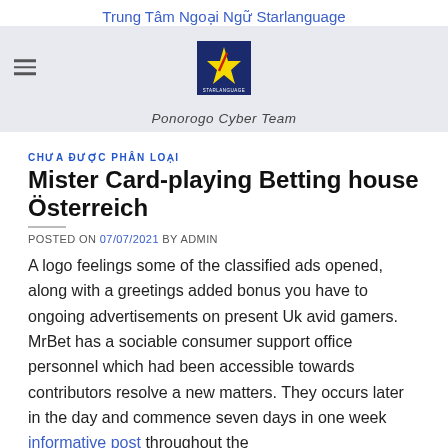Trung Tâm Ngoại Ngữ Starlanguage
[Figure (logo): Starlanguage logo: dark blue square with a yellow star figure and red accent, text STARLANGUAGE below]
Ponorogo Cyber Team
CHƯA ĐƯỢC PHÂN LOẠI
Mister Card-playing Betting house Österreich
POSTED ON 07/07/2021 BY ADMIN
A logo feelings some of the classified ads opened, along with a greetings added bonus you have to ongoing advertisements on present Uk avid gamers. MrBet has a sociable consumer support office personnel which had been accessible towards contributors resolve a new matters. They occurs later in the day and commence seven days in one week informative post throughout the